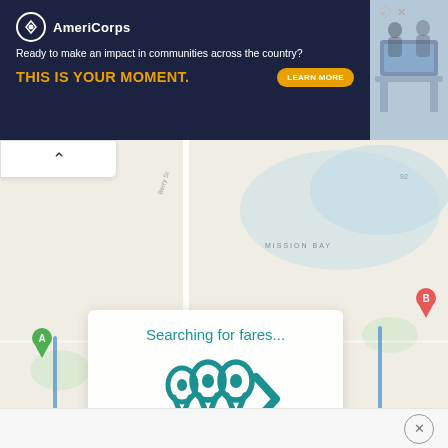[Figure (screenshot): AmeriCorps advertisement banner with dark navy background. Logo with circle emblem and text 'AmeriCorps'. Tagline: 'Ready to make an impact in communities across the country?' Bold orange text: 'THIS IS YOUR MOMENT.' with a 'LEARN MORE' button. Right side shows a photo of people at computers.]
[Figure (map): Google Maps view showing Mission Bay area of San Francisco. Map has route from point A (green marker, left) to point B (pink marker, right). Route is shown as a blue rounded rectangle path. Overlay shows 'Searching for fares...' text with animated Lyft-style logo (three teardrop/pin shapes in teal).]
Searching for fares...
[Figure (logo): Animated teal Lyft logo showing three overlapping location pin shapes pointing right, suggesting motion/animation.]